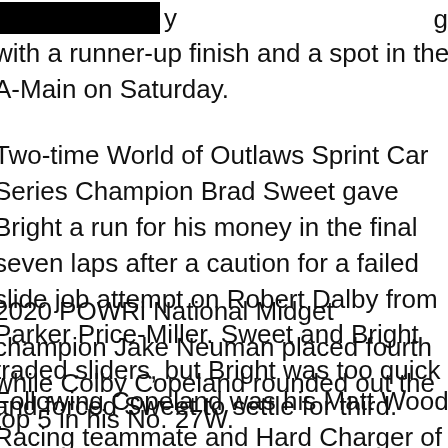with a runner-up finish and a spot in the A-Main on Saturday.
Two-time World of Outlaws Sprint Car Series Champion Brad Sweet gave Bright a run for his money in the final seven laps after a caution for a failed slide job attempt on Robert Dalby from Parker Price-Miller. Sweet and Bright traded sliders, but Bright was too quick and forced Sweet to settle for third.
2020 POWRi National Midget champion Jake Neuman placed fourth while Colby Copeland rounded out the top 5 in his No. 27W.
Following Copeland was his Matt Wood Racing teammate and Hard Charger of the race, Kevin Thomas Jr. Jake Swanson, veteran Daniel Robinson, Parker Price-Miller, and former Chili Bowl Rookie of the Year,